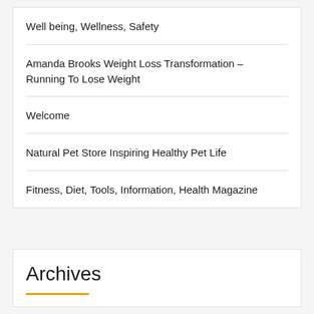Well being, Wellness, Safety
Amanda Brooks Weight Loss Transformation – Running To Lose Weight
Welcome
Natural Pet Store Inspiring Healthy Pet Life
Fitness, Diet, Tools, Information, Health Magazine
Archives